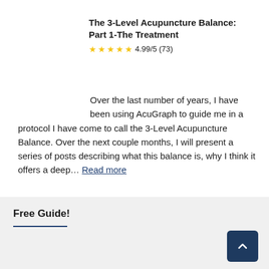The 3-Level Acupuncture Balance: Part 1-The Treatment
★★★★★ 4.99/5 (73)
Over the last number of years, I have been using AcuGraph to guide me in a protocol I have come to call the 3-Level Acupuncture Balance. Over the next couple months, I will present a series of posts describing what this balance is, why I think it offers a deep… Read more
Free Guide!